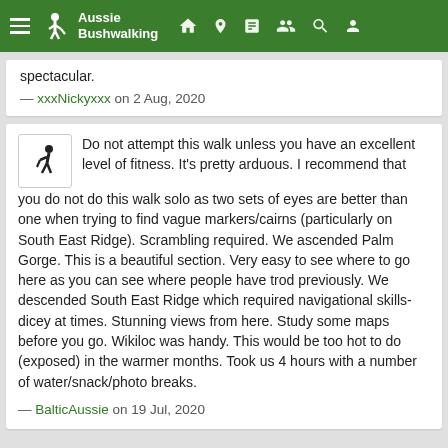Aussie Bushwalking
spectacular.
— xxxNickyxxx on 2 Aug, 2020
Do not attempt this walk unless you have an excellent level of fitness. It's pretty arduous. I recommend that you do not do this walk solo as two sets of eyes are better than one when trying to find vague markers/cairns (particularly on South East Ridge). Scrambling required. We ascended Palm Gorge. This is a beautiful section. Very easy to see where to go here as you can see where people have trod previously. We descended South East Ridge which required navigational skills- dicey at times. Stunning views from here. Study some maps before you go. Wikiloc was handy. This would be too hot to do (exposed) in the warmer months. Took us 4 hours with a number of water/snack/photo breaks.
— BalticAussie on 19 Jul, 2020